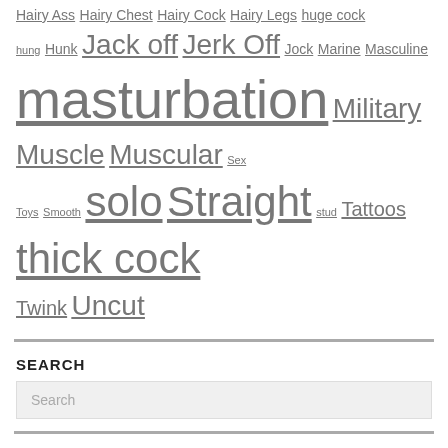Hairy Ass Hairy Chest Hairy Cock Hairy Legs huge cock hung Hunk Jack off Jerk Off Jock Marine Masculine masturbation Military Muscle Muscular Sex Toys Smooth solo Straight stud Tattoos thick cock Twink Uncut
SEARCH
Search
POPULAR GAY PORN STARS AND STUDIOS
ActiveDuty Active Duty All American Heroes